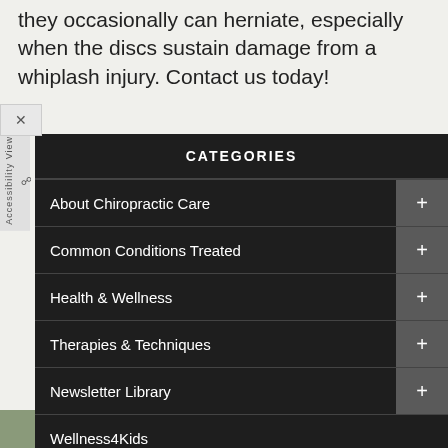they occasionally can herniate, especially when the discs sustain damage from a whiplash injury. Contact us today!
About Chiropractic Care
Common Conditions Treated
Health & Wellness
Therapies & Techniques
Newsletter Library
Wellness4Kids